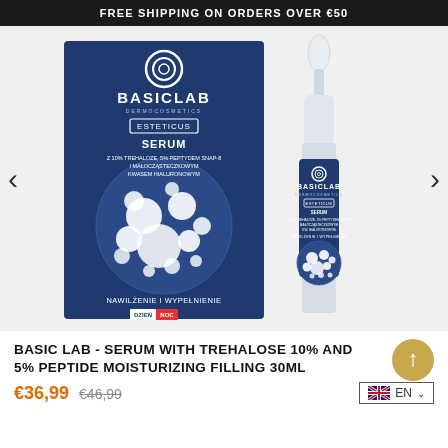FREE SHIPPING ON ORDERS OVER €50
[Figure (photo): BasicLab Dermocosmetics Esteticus Serum product packaging (dark blue box) and bottle with dropper, featuring the text SERUM Z 10% TREHALOZE, 5% PEPTYDEM SNAP-8 I MAŁOCZĄSTECZKOWYM KWASEM HIALURONOWYM, NAWILŻENIE I WYPEŁNIENIE, with navigation arrows on left and right]
BASIC LAB - SERUM WITH TREHALOSE 10% AND 5% PEPTIDE MOISTURIZING FILLING 30ML
€36,99  €46,99